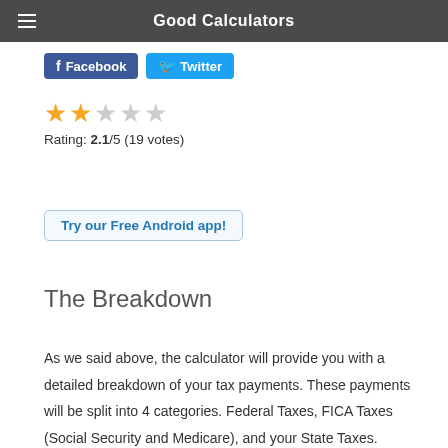Good Calculators
Facebook  Twitter
Rating: 2.1/5 (19 votes)
Try our Free Android app!
The Breakdown
As we said above, the calculator will provide you with a detailed breakdown of your tax payments. These payments will be split into 4 categories. Federal Taxes, FICA Taxes (Social Security and Medicare), and your State Taxes. However, it is important to